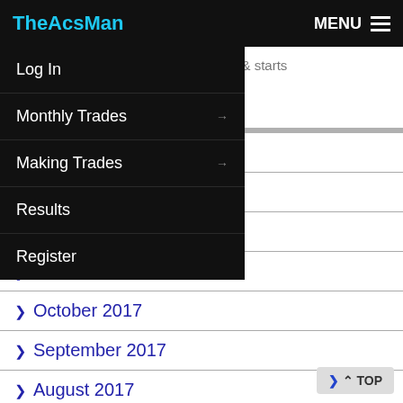TheAcsMan | MENU
The problem's root remains untouched & starts away back tomorrow
Log In
Monthly Trades →
Making Trades →
Results
Register
> 2018
> 18
> December 2017
> November 2017
> October 2017
> September 2017
> August 2017
> July 2017
> June 2017